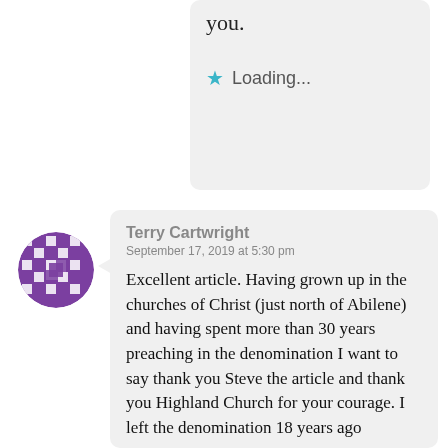you.
Loading...
[Figure (illustration): Purple and white mosaic/checkerboard pattern avatar icon in a circle]
Terry Cartwright
September 17, 2019 at 5:30 pm

Excellent article. Having grown up in the churches of Christ (just north of Abilene) and having spent more than 30 years preaching in the denomination I want to say thank you Steve the article and thank you Highland Church for your courage. I left the denomination 18 years ago